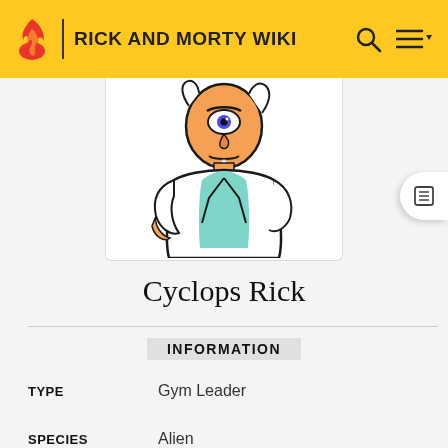RICK AND MORTY WIKI
[Figure (illustration): Cartoon illustration of Rick Sanchez character (Cyclops Rick) from Rick and Morty, wearing a white lab coat over a teal shirt, with orange skin, drooling, hand on hip, shown from waist up]
Cyclops Rick
INFORMATION
| TYPE | Gym Leader |
| SPECIES | Alien |